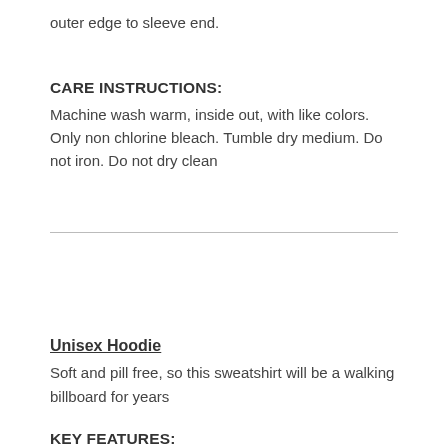outer edge to sleeve end.
CARE INSTRUCTIONS:
Machine wash warm, inside out, with like colors. Only non chlorine bleach. Tumble dry medium. Do not iron. Do not dry clean
Unisex Hoodie
Soft and pill free, so this sweatshirt will be a walking billboard for years
KEY FEATURES: